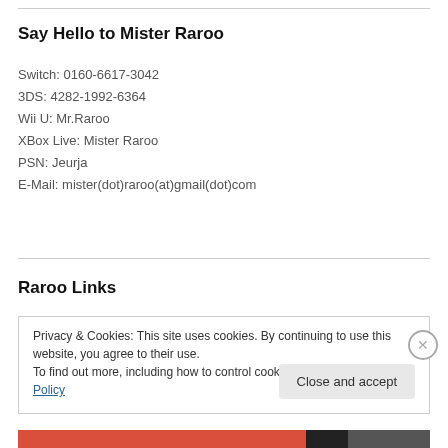Say Hello to Mister Raroo
Switch: 0160-6617-3042
3DS: 4282-1992-6364
Wii U: Mr.Raroo
XBox Live: Mister Raroo
PSN: Jeurja
E-Mail: mister(dot)raroo(at)gmail(dot)com
Raroo Links
Privacy & Cookies: This site uses cookies. By continuing to use this website, you agree to their use.
To find out more, including how to control cookies, see here: Cookie Policy